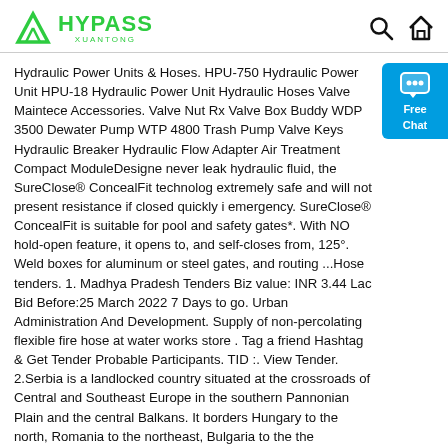HYPASS XUANTONG
Hydraulic Power Units & Hoses. HPU-750 Hydraulic Power Unit HPU-18 Hydraulic Power Unit Hydraulic Hoses Valve Maintece Accessories. Valve Nut Rx Valve Box Buddy WDP 3500 Dewater Pump WTP 4800 Trash Pump Valve Keys Hydraulic Breaker Hydraulic Flow Adapter Air Treatment Compact ModuleDesigned never leak hydraulic fluid, the SureClose® ConcealFit technology extremely safe and will not present resistance if closed quickly in emergency. SureClose® ConcealFit is suitable for pool and safety gates*. With NO hold-open feature, it opens to, and self-closes from, 125°. Weld boxes for aluminum or steel gates, and routing ...Hose tenders. 1. Madhya Pradesh Tenders Biz value: INR 3.44 Lac Bid Before:25 March 2022 7 Days to go. Urban Administration And Development. Supply of non-percolating flexible fire hose at water works store . Tag a friend Hashtag & Get Tender Probable Participants. TID :. View Tender. 2.Serbia is a landlocked country situated at the crossroads of Central and Southeast Europe in the southern Pannonian Plain and the central Balkans. It borders Hungary to the north, Romania to the northeast, Bulgaria to the southeast, North Macedonia to the south, Croatia and Bosnia and Herzegovina to the west, and Montenegro to the southwest. The country claims a border with ...